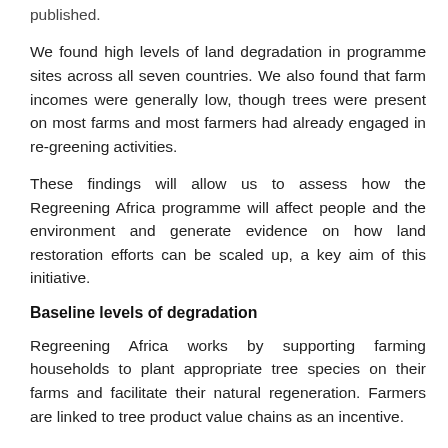published.
We found high levels of land degradation in programme sites across all seven countries. We also found that farm incomes were generally low, though trees were present on most farms and most farmers had already engaged in re-greening activities.
These findings will allow us to assess how the Regreening Africa programme will affect people and the environment and generate evidence on how land restoration efforts can be scaled up, a key aim of this initiative.
Baseline levels of degradation
Regreening Africa works by supporting farming households to plant appropriate tree species on their farms and facilitate their natural regeneration. Farmers are linked to tree product value chains as an incentive.
In addition, the project promotes other land restoration practices, such as intercropping, reduced tillage, soil erosion control structures and water harvesting.